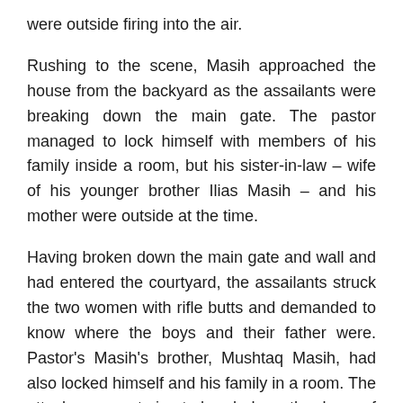were outside firing into the air.
Rushing to the scene, Masih approached the house from the backyard as the assailants were breaking down the main gate. The pastor managed to lock himself with members of his family inside a room, but his sister-in-law – wife of his younger brother Ilias Masih – and his mother were outside at the time.
Having broken down the main gate and wall and had entered the courtyard, the assailants struck the two women with rifle butts and demanded to know where the boys and their father were. Pastor's Masih's brother, Mushtaq Masih, had also locked himself and his family in a room. The attackers were trying to break down the doors of rooms in pastor Masih's home when one of them called off the assault and they left.